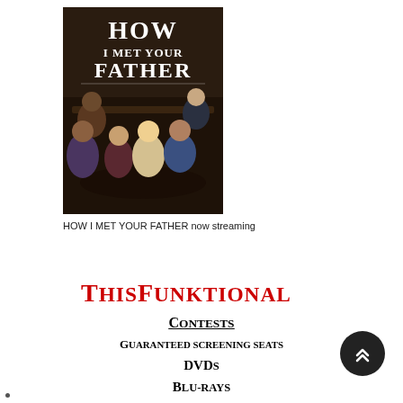[Figure (photo): Promotional poster for 'How I Met Your Father' TV show, showing five cast members seated in a bar/lounge setting with the show title in large white letters at the top on a dark background.]
HOW I MET YOUR FATHER now streaming
ThisFunktional
Contests
Guaranteed screening seats
DVDs
Blu-rays